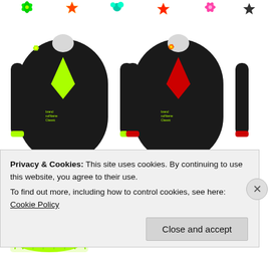[Figure (screenshot): A webpage showing virtual fashion items: row of colorful tops/shirts (black with neon green, red, teal, pink, dark accents), row of pleated skirts (green, red, teal, pink, black/dark), and row of leg warmers (neon green, red, teal, pink, black). Items appear to be from an online virtual clothing store or game. Small decorative icons/flowers visible at top and on some items.]
Privacy & Cookies: This site uses cookies. By continuing to use this website, you agree to their use.
To find out more, including how to control cookies, see here: Cookie Policy